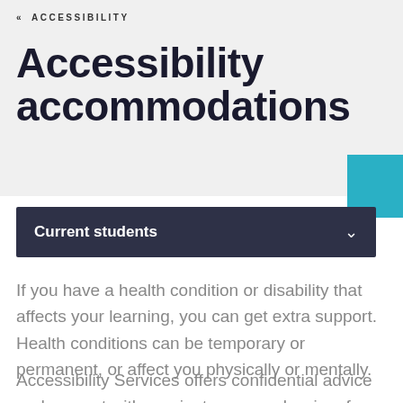« ACCESSIBILITY
Accessibility accommodations
Current students
If you have a health condition or disability that affects your learning, you can get extra support. Health conditions can be temporary or permanent, or affect you physically or mentally.
Accessibility Services offers confidential advice and support with an aim to remove barriers for